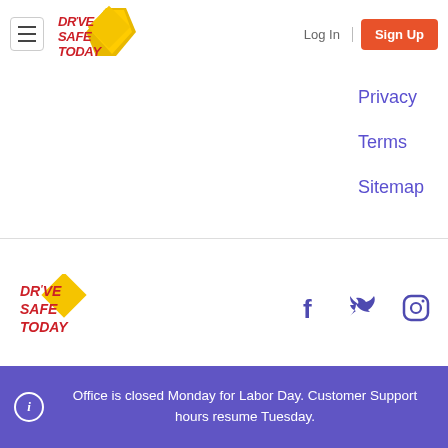DR'VE SAFE TODAY | Log In | Sign Up
Privacy
Terms
Sitemap
[Figure (logo): DrVeSafeToday logo with yellow diamond shape and red bold text]
[Figure (other): Social media icons: Facebook, Twitter, Instagram in purple]
© 2022 DriveSafeToday.com, Inc.
Office is closed Monday for Labor Day. Customer Support hours resume Tuesday.